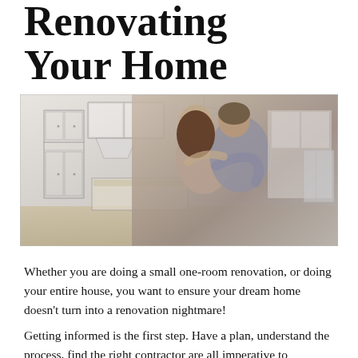Renovating Your Home
[Figure (photo): A couple embracing while looking at a kitchen renovation — the image blends a real photograph of the couple with a pencil-sketch architectural drawing of a kitchen with white cabinets, island, and chandelier.]
Whether you are doing a small one-room renovation, or doing your entire house, you want to ensure your dream home doesn't turn into a renovation nightmare!
Getting informed is the first step. Have a plan, understand the process, find the right contractor are all imperative to